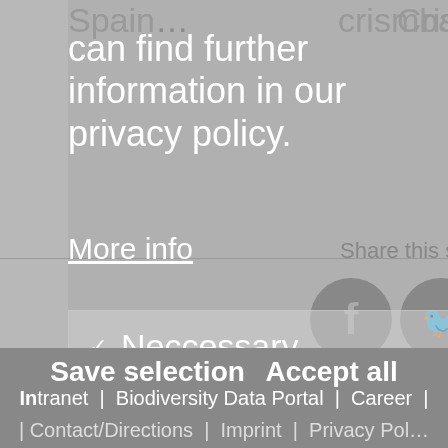Spain … crispus crismba…
can find further information in our privacy policy.
More info
Share this site o…
✓ Neccessary
■ Statistics
iDiv is a research cent…
DFG Deutsche Forschungsge…
Save selection
Accept all
Intranet | Biodiversity Data Portal | Career |
| Contact/Directions | Imprint | Privacy Pol…